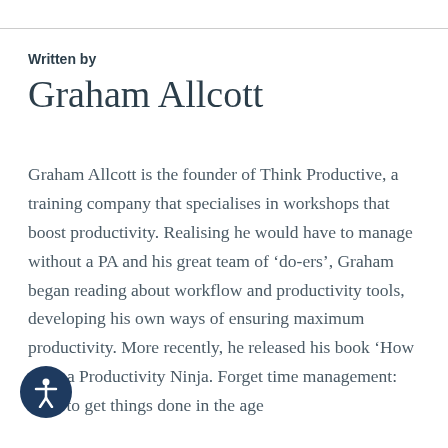Written by
Graham Allcott
Graham Allcott is the founder of Think Productive, a training company that specialises in workshops that boost productivity. Realising he would have to manage without a PA and his great team of ‘do-ers’, Graham began reading about workflow and productivity tools, developing his own ways of ensuring maximum productivity. More recently, he released his book ‘How to be a Productivity Ninja. Forget time management: How to get things done in the age